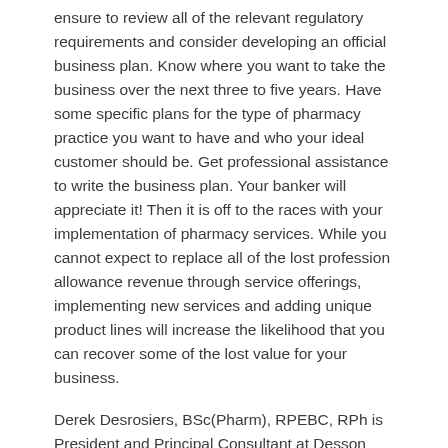ensure to review all of the relevant regulatory requirements and consider developing an official business plan. Know where you want to take the business over the next three to five years. Have some specific plans for the type of pharmacy practice you want to have and who your ideal customer should be. Get professional assistance to write the business plan. Your banker will appreciate it! Then it is off to the races with your implementation of pharmacy services. While you cannot expect to replace all of the lost profession allowance revenue through service offerings, implementing new services and adding unique product lines will increase the likelihood that you can recover some of the lost value for your business.
Derek Desrosiers, BSc(Pharm), RPEBC, RPh is President and Principal Consultant at Desson Consulting Ltd. dessonconsulting.com